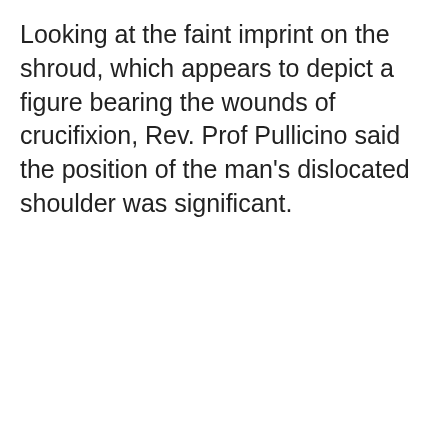Looking at the faint imprint on the shroud, which appears to depict a figure bearing the wounds of crucifixion, Rev. Prof Pullicino said the position of the man's dislocated shoulder was significant.